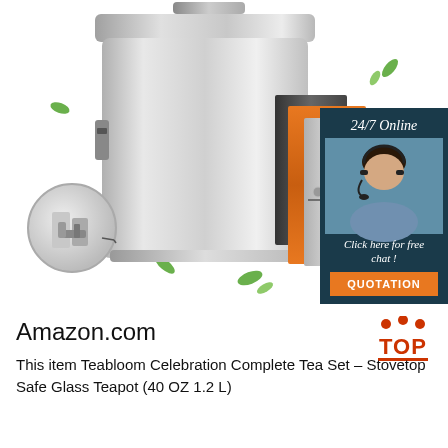[Figure (photo): Stainless steel insulated food container with lid, showing internal layered construction (dark, orange, silver layers). Left side shows a circular magnified detail of the clamp mechanism. Right side has a dark teal panel with '24/7 Online' text, a customer service agent photo with headset, 'Click here for free chat!' text, and an orange 'QUOTATION' button. Green leaf decorations scattered in background.]
Amazon.com
This item Teabloom Celebration Complete Tea Set – Stovetop Safe Glass Teapot (40 OZ 1.2 L)